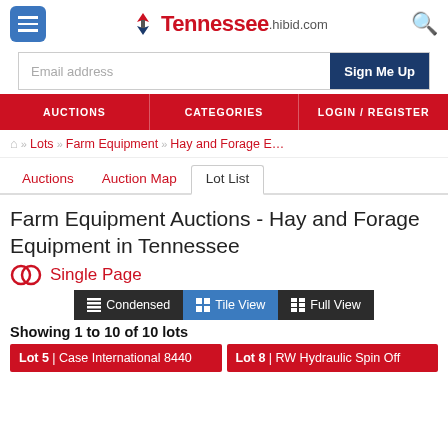Tennessee.hibid.com
Email address | Sign Me Up
AUCTIONS | CATEGORIES | LOGIN/REGISTER
Home » Lots » Farm Equipment » Hay and Forage E…
Auctions | Auction Map | Lot List
Farm Equipment Auctions - Hay and Forage Equipment in Tennessee
Single Page
Condensed | Tile View | Full View
Showing 1 to 10 of 10 lots
Lot 5 | Case International 8440
Lot 8 | RW Hydraulic Spin Off